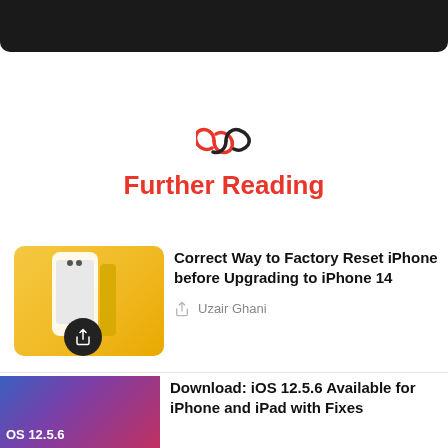[Figure (photo): Dark/black top image strip, partially visible at top of page]
[Figure (logo): Chain link / further reading icon in red and dark colors]
Further Reading
[Figure (photo): Yellow iPhone 12 product image thumbnail]
Correct Way to Factory Reset iPhone before Upgrading to iPhone 14
Uzair Ghani
[Figure (photo): iOS 12.5.6 wallpaper/screenshot thumbnail with blue-purple gradient]
Download: iOS 12.5.6 Available for iPhone and iPad with Fixes